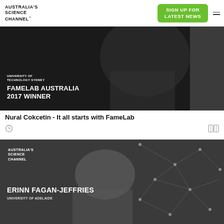[Figure (logo): Australia's Science Channel logo with text]
SIGN UP FOR LATEST NEWS
[Figure (photo): Black and white photo of person at University of Technology Sydney, with overlay text 'FAMELAB AUSTRALIA 2017 WINNER']
Nural Cokcetin - It all starts with FameLab
[Figure (photo): Black and white photo of smiling woman (Erinn Fagan-Jeffries, University of Adelaide) against dark background with network graphic]